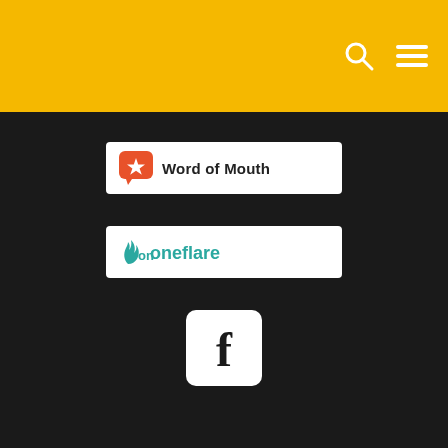Navigation header with search and menu icons
[Figure (logo): Word of Mouth logo - orange star icon with 'Word of Mouth' text on white background]
[Figure (logo): Oneflare logo - teal flame/hand icon with 'oneflare' text on white background]
[Figure (logo): Facebook logo - white 'f' icon on white rounded square background]